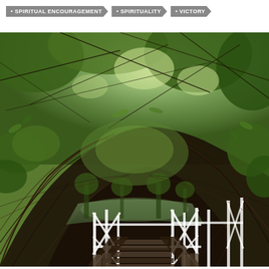• SPIRITUAL ENCOURAGEMENT  • SPIRITUALITY  • VICTORY
[Figure (photo): Upward-looking view beneath a woven bamboo or wicker canopy arch, with lush green foliage and leafy tree branches visible above. Below the arch, a wooden staircase with white metal railings leads down toward a body of water surrounded by forest.]